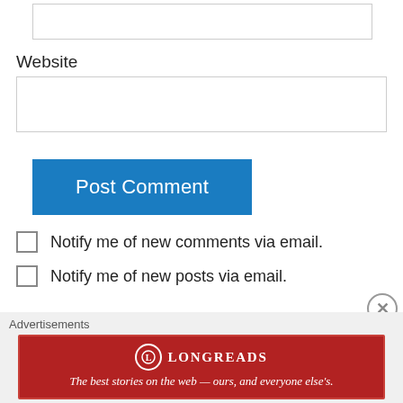[Website input field - top partial]
Website
Post Comment
Notify me of new comments via email.
Notify me of new posts via email.
Laron on June 16, 2012 at 4:16 am
Advertisements
[Figure (other): Longreads advertisement banner: red background with white Longreads logo and tagline 'The best stories on the web — ours, and everyone else's.']